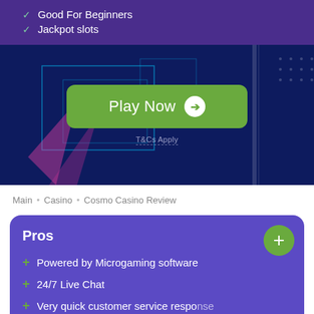✓ Good For Beginners
✓ Jackpot slots
[Figure (screenshot): Casino banner with neon geometric shapes on dark blue background, featuring a green Play Now button with arrow icon and T&Cs Apply text below]
Main • Casino • Cosmo Casino Review
Pros
+ Powered by Microgaming software
+ 24/7 Live Chat
+ Very quick customer service response...